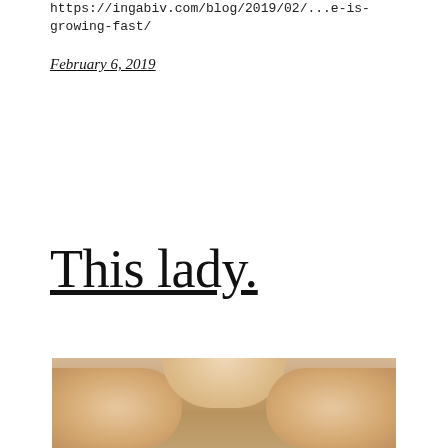https://ingabivcom/blog/2019/02/...growing-fast/
February 6, 2019
This lady.
[Figure (photo): Close-up photo of a person/animal, showing skin or fur at the top of a face]